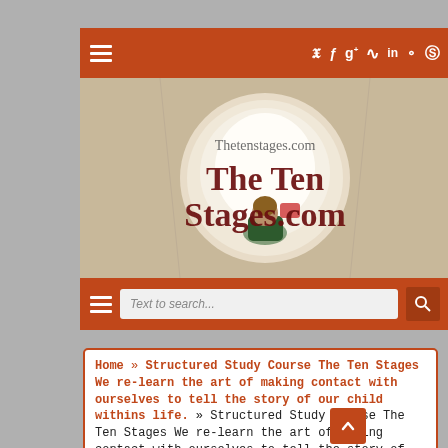≡ | Twitter Facebook Google+ RSS LinkedIn Dribbble Pinterest
[Figure (screenshot): Website hero banner showing a child sitting inside a tunnel, with overlaid text 'Thetenstages.com' and 'The Ten Stages.com' in large dark red letters]
≡ | Text to search... [search icon]
Home » Structured Study Course The Ten Stages We re-learn the art of making contact with ourselves to tell the story of our child withins life. » Structured Study Course The Ten Stages We re-learn the art of making contact with ourselves to tell the story of our child withins life.